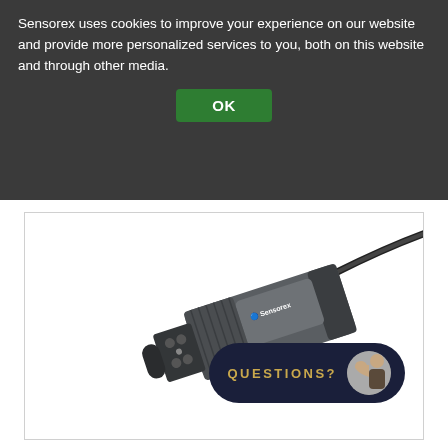Sensorex uses cookies to improve your experience on our website and provide more personalized services to you, both on this website and through other media.
[Figure (screenshot): OK button in green rounded rectangle for cookie consent]
[Figure (photo): Sensorex industrial conductivity or dissolved oxygen sensor probe with threaded body, cable, and multiple electrode tips. Dark grey sensor body with Sensorex logo visible.]
[Figure (other): QUESTIONS? badge overlay with dark navy background, gold text, and thumbs-up icon on the right side]